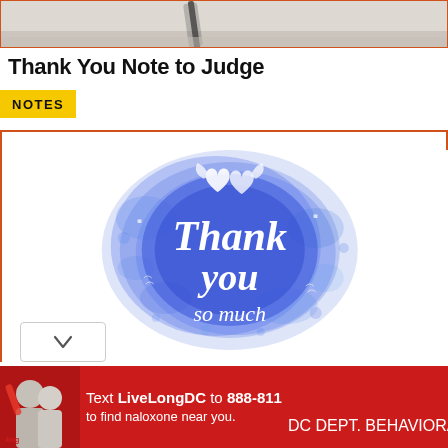[Figure (photo): Top cropped image strip showing a pen/pencil on a surface, partially visible]
Thank You Note to Judge
NOTES
[Figure (illustration): Blue watercolor splash background with white script text reading 'Thank you so much' and decorative hearts/wings doodles]
[Figure (photo): Red advertisement banner: Text LiveLongDC to 888-811 to find naloxone near you, with DC and DBH logos]